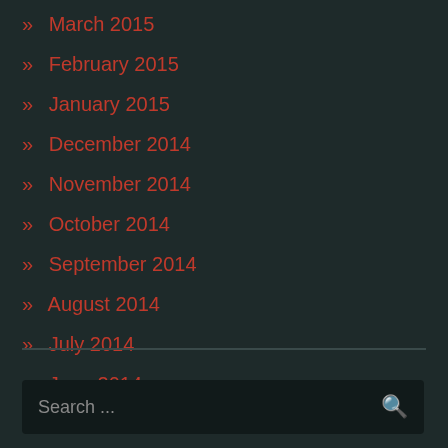» March 2015
» February 2015
» January 2015
» December 2014
» November 2014
» October 2014
» September 2014
» August 2014
» July 2014
» June 2014
Search ...